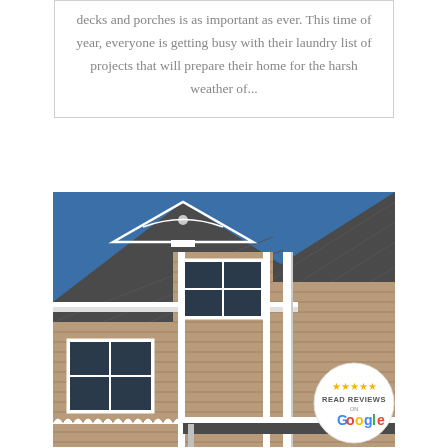decks and porches is as important as ever. This time of year, everyone is getting busy with their laundry list of projects that will prepare their home for the harsh weather of...
[Figure (photo): Close-up photograph of a house exterior showing a tan/beige vinyl siding, dark gray shingled roof with decorative white gable trim, white window frames, and a white gutter/downspout system. A Google 'Read Reviews' badge with 5 stars is overlaid in the bottom right corner.]